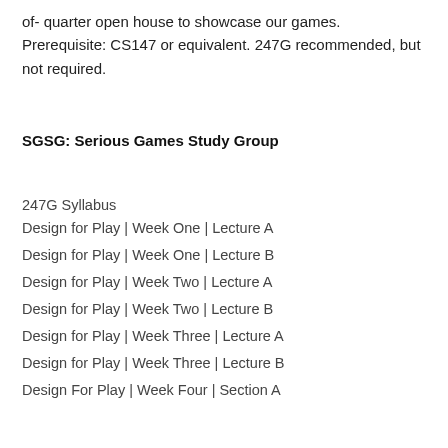of- quarter open house to showcase our games. Prerequisite: CS147 or equivalent. 247G recommended, but not required.
SGSG: Serious Games Study Group
247G Syllabus
Design for Play | Week One | Lecture A
Design for Play | Week One | Lecture B
Design for Play | Week Two | Lecture A
Design for Play | Week Two | Lecture B
Design for Play | Week Three | Lecture A
Design for Play | Week Three | Lecture B
Design For Play | Week Four | Section A